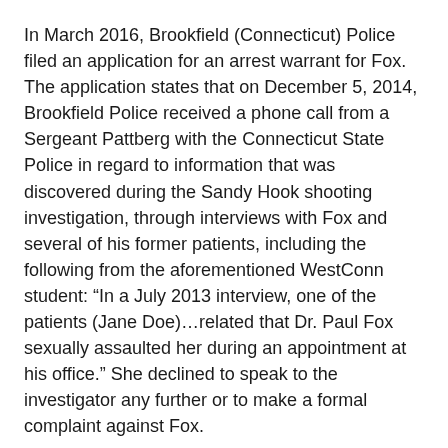In March 2016, Brookfield (Connecticut) Police filed an application for an arrest warrant for Fox. The application states that on December 5, 2014, Brookfield Police received a phone call from a Sergeant Pattberg with the Connecticut State Police in regard to information that was discovered during the Sandy Hook shooting investigation, through interviews with Fox and several of his former patients, including the following from the aforementioned WestConn student: “In a July 2013 interview, one of the patients (Jane Doe)…related that Dr. Paul Fox sexually assaulted her during an appointment at his office.” She declined to speak to the investigator any further or to make a formal complaint against Fox.
Yet later the same day, the woman called Brookfield Police back, wanting to report “an incident involving